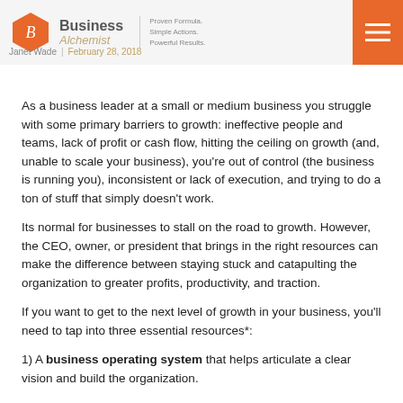Business Alchemist | Proven Formula. Simple Actions. Powerful Results. | Janet Wade | February 28, 2018
As a business leader at a small or medium business you struggle with some primary barriers to growth: ineffective people and teams, lack of profit or cash flow, hitting the ceiling on growth (and, unable to scale your business), you're out of control (the business is running you), inconsistent or lack of execution, and trying to do a ton of stuff that simply doesn't work.
Its normal for businesses to stall on the road to growth. However, the CEO, owner, or president that brings in the right resources can make the difference between staying stuck and catapulting the organization to greater profits, productivity, and traction.
If you want to get to the next level of growth in your business, you'll need to tap into three essential resources*:
1) A business operating system that helps articulate a clear vision and build the organization.